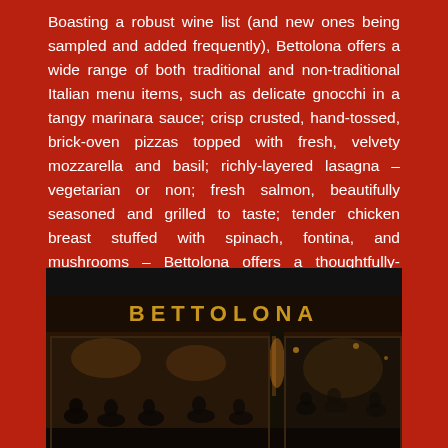Boasting a robust wine list (and new ones being sampled and added frequently), Bettolona offers a wide range of both traditional and non-traditional Italian menu items, such as delicate gnocchi in a tangy marinara sauce; crisp crusted, hand-tossed, brick-oven pizzas topped with fresh, velvety mozzarella and basil; richly-layered lasagna – vegetarian or non; fresh salmon, beautifully seasoned and grilled to taste; tender chicken breast stuffed with spinach, fontina, and mushrooms – Bettolona offers a thoughtfully-prepared dish for any palate.
[Figure (photo): Exterior nighttime photo of Bettolona restaurant storefront. The restaurant name BETTOLONA is displayed in gold/amber letters on the facade. Through large windows, diners and interior warm lighting are visible. People are seen inside dining.]